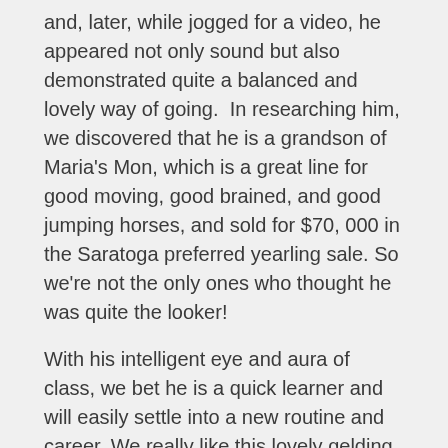and, later, while jogged for a video, he appeared not only sound but also demonstrated quite a balanced and lovely way of going.  In researching him, we discovered that he is a grandson of Maria's Mon, which is a great line for good moving, good brained, and good jumping horses, and sold for $70, 000 in the Saratoga preferred yearling sale. So we're not the only ones who thought he was quite the looker!
With his intelligent eye and aura of class, we bet he is a quick learner and will easily settle into a new routine and career. We really like this lovely gelding, and we are confident you will too.
Contact Mike LeCesse 585-303-9467.
Price $1000
Race record and pedigree: